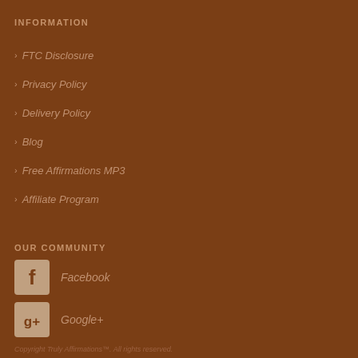INFORMATION
FTC Disclosure
Privacy Policy
Delivery Policy
Blog
Free Affirmations MP3
Affiliate Program
OUR COMMUNITY
Facebook
Google+
Copyright Truly Affirmations™. All rights reserved.